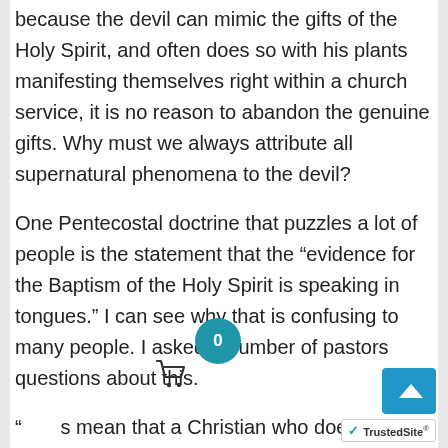because the devil can mimic the gifts of the Holy Spirit, and often does so with his plants manifesting themselves right within a church service, it is no reason to abandon the genuine gifts. Why must we always attribute all supernatural phenomena to the devil?
One Pentecostal doctrine that puzzles a lot of people is the statement that the “evidence for the Baptism of the Holy Spirit is speaking in tongues.” I can see why that is confusing to many people. I asked a number of pastors questions about this.
“ s mean that a Christian who does not speak in tongues doesn’t have the Holy Spirit?